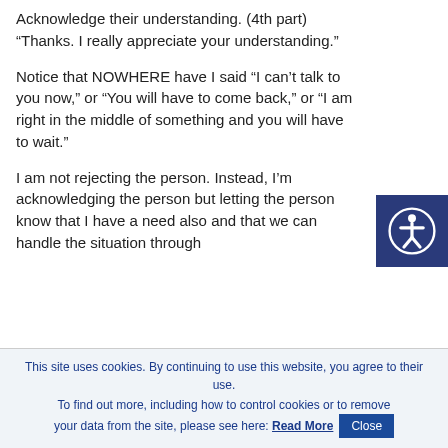Acknowledge their understanding. (4th part)
“Thanks. I really appreciate your understanding.”
Notice that NOWHERE have I said “I can’t talk to you now,” or “You will have to come back,” or “I am right in the middle of something and you will have to wait.”
I am not rejecting the person. Instead, I’m acknowledging the person but letting the person know that I have a need also and that we can handle the situation through
This site uses cookies. By continuing to use this website, you agree to their use.
To find out more, including how to control cookies or to remove your data from the site, please see here: Read More